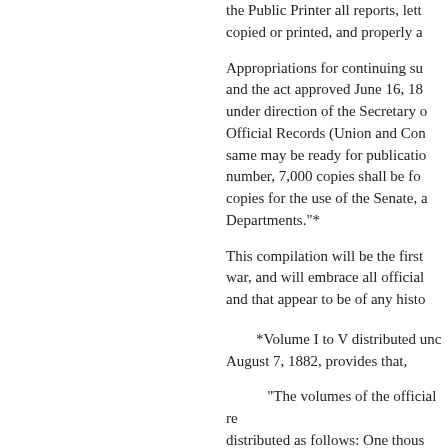the Public Printer all reports, lett copied or printed, and properly a
Appropriations for continuing su and the act approved June 16, 18 under direction of the Secretary o Official Records (Union and Con same may be ready for publicatio number, 7,000 copies shall be fo copies for the use of the Senate, a Departments."*
This compilation will be the first war, and will embrace all official and that appear to be of any histo
*Volume I to V distributed unc August 7, 1882, provides that,
“The volumes of the official re distributed as follows: One thous provided by law. One thousand c and contributors to the work. Eig such libraries, organizations, and Delegates of the Fortyseventh Co Representative and Delegates